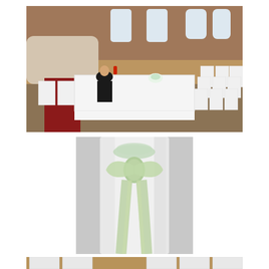[Figure (photo): Indoor wedding venue setup with white chair covers and red carpet runner. A person in dark clothing sits at a long table draped in white, with floral decorations. Rows of white-covered chairs line both sides. Brick walls and arched windows visible in background.]
[Figure (photo): Close-up of a white chair cover with a light green/sage organza sash tied in a bow at the back of the chair. Additional white chair covers visible in the blurred background.]
[Figure (photo): Partial view of white chair covers in a venue with brick walls and windows, cropped at the bottom of the page.]